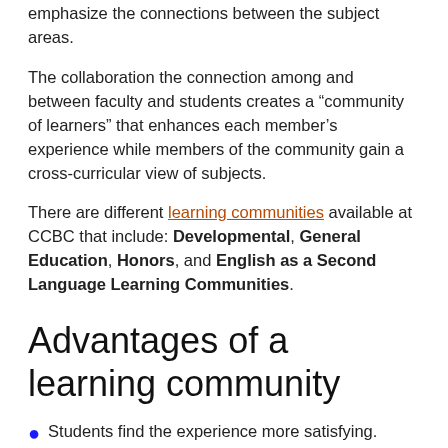emphasize the connections between the subject areas.
The collaboration the connection among and between faculty and students creates a “community of learners” that enhances each member’s experience while members of the community gain a cross-curricular view of subjects.
There are different learning communities available at CCBC that include: Developmental, General Education, Honors, and English as a Second Language Learning Communities.
Advantages of a learning community
Students find the experience more satisfying.
Students are more likely to be successful in the courses within the community.
Students are more likely to finish these courses and continue at the institution.